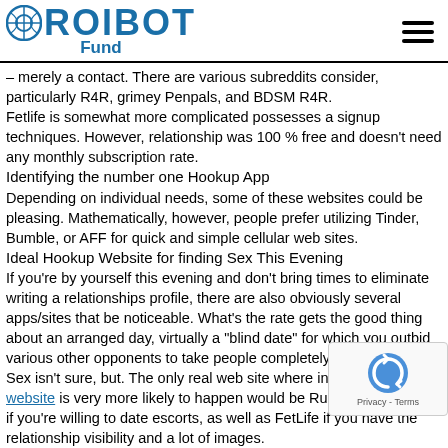ROIBOT Fund
– merely a contact. There are various subreddits consider, particularly R4R, grimey Penpals, and BDSM R4R.
Fetlife is somewhat more complicated possesses a signup techniques. However, relationship was 100 % free and doesn't need any monthly subscription rate.
Identifying the number one Hookup App
Depending on individual needs, some of these websites could be pleasing. Mathematically, however, people prefer utilizing Tinder, Bumble, or AFF for quick and simple cellular web sites.
Ideal Hookup Website for finding Sex This Evening
If you're by yourself this evening and don't bring times to eliminate writing a relationships profile, there are also obviously several apps/sites that be noticeable. What's the rate gets the good thing about an arranged day, virtually a "blind date" for which you outbid various other opponents to take people completely.
Sex isn't sure, but. The only real web site where intercourse the website is very more likely to happen would be RubMaps, or Tinder if you're willing to date escorts, as well as FetLife if you have the relationship visibility and a lot of images.
Categories: cedar rapids escort service | Comments
Leave a Reply
Your email address will not be published. Required fields are marked *